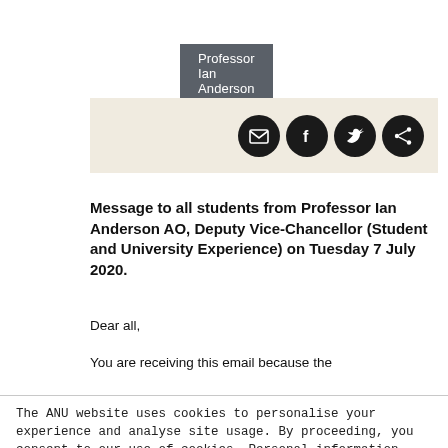Professor Ian Anderson AO
[Figure (illustration): Social media share icons: email, Facebook, Twitter, share — white icons on black circles, on a beige/cream background bar]
Message to all students from Professor Ian Anderson AO, Deputy Vice-Chancellor (Student and University Experience) on Tuesday 7 July 2020.
Dear all,
You are receiving this email because the
The ANU website uses cookies to personalise your experience and analyse site usage. By proceeding, you consent to our use of cookies. Personal information will be handled in accordance with the ANU Privacy Policy